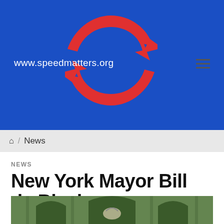[Figure (logo): speedmatters.org website header with blue background, red circular arrows logo, and URL www.speedmatters.org]
/ News
NEWS
New York Mayor Bill de Blasio rags on FiOS
26 FEB, 2014
[Figure (photo): Green tinted image of what appears to be New York City official seal or building facade with eagle motif]